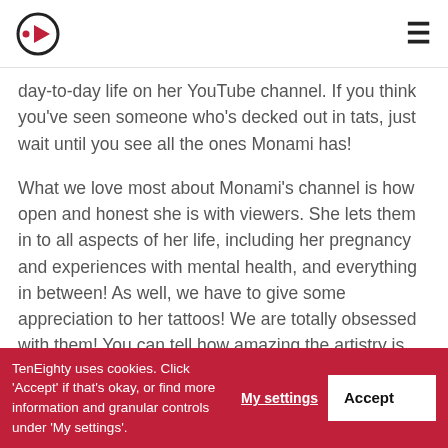[Logo] [Hamburger menu]
day-to-day life on her YouTube channel. If you think you've seen someone who's decked out in tats, just wait until you see all the ones Monami has!
What we love most about Monami's channel is how open and honest she is with viewers. She lets them in to all aspects of her life, including her pregnancy and experiences with mental health, and everything in between! As well, we have to give some appreciation to her tattoos! We are totally obsessed with them! You can tell how amazing the artistry is, and we can't get enough of seeing them.
iShine ink
TenEighty uses cookies. Click 'Accept' if that's okay, or find more information and granular controls under 'My settings'.